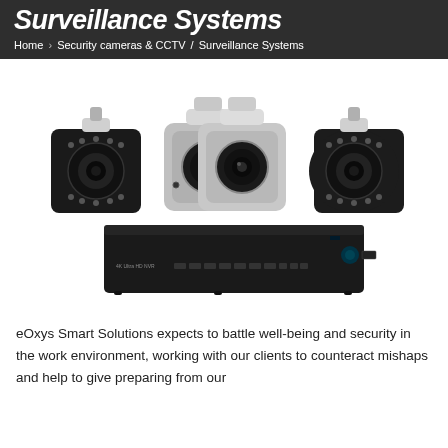Surveillance Systems
Home > Security cameras & CCTV / Surveillance Systems
[Figure (photo): Four security bullet cameras (two black, two white/grey) arranged together above a black 4K Ultra HD NVR recorder unit.]
eOxys Smart Solutions expects to battle well-being and security in the work environment, working with our clients to counteract mishaps and help to give preparing from our